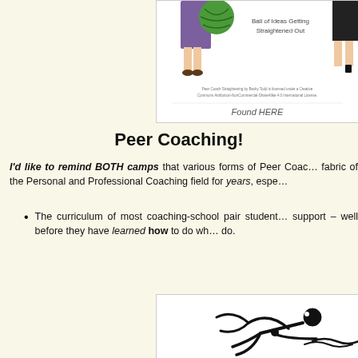[Figure (illustration): Partial view of a peer coaching illustration showing a figure with a green ball of yarn and text 'Ball of Ideas Getting Straightened Out', with a Creative Commons license note and 'Found HERE' link below]
Peer Coaching!
I'd like to remind BOTH camps that various forms of Peer Coaching have been woven into the fabric of the Personal and Professional Coaching field for years, espe…
The curriculum of most coaching-school pair students together for support – well before they have learned how to do wh… do.
[Figure (illustration): Stick figure illustration of a person swimming or struggling, drawn in black line art style on white background]